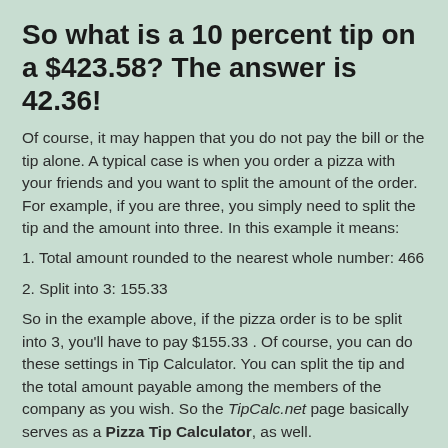So what is a 10 percent tip on a $423.58? The answer is 42.36!
Of course, it may happen that you do not pay the bill or the tip alone. A typical case is when you order a pizza with your friends and you want to split the amount of the order. For example, if you are three, you simply need to split the tip and the amount into three. In this example it means:
1. Total amount rounded to the nearest whole number: 466
2. Split into 3: 155.33
So in the example above, if the pizza order is to be split into 3, you'll have to pay $155.33 . Of course, you can do these settings in Tip Calculator. You can split the tip and the total amount payable among the members of the company as you wish. So the TipCalc.net page basically serves as a Pizza Tip Calculator, as well.